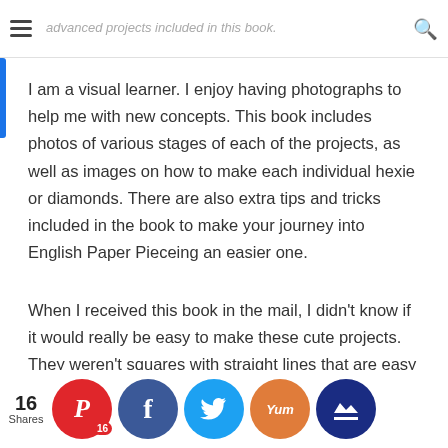advanced projects included in this book.
I am a visual learner. I enjoy having photographs to help me with new concepts. This book includes photos of various stages of each of the projects, as well as images on how to make each individual hexie or diamonds. There are also extra tips and tricks included in the book to make your journey into English Paper Pieceing an easier one.
When I received this book in the mail, I didn't know if it would really be easy to make these cute projects. They weren't squares with straight lines that are easy to put together! How was I going to make sure the fabric [stayed in the] correct [position]? Was [I] going to [be able to] [sew] the he[xies] toge[ther]...
16 Shares | Pinterest 16 | Facebook | Twitter | Yummly | Crown